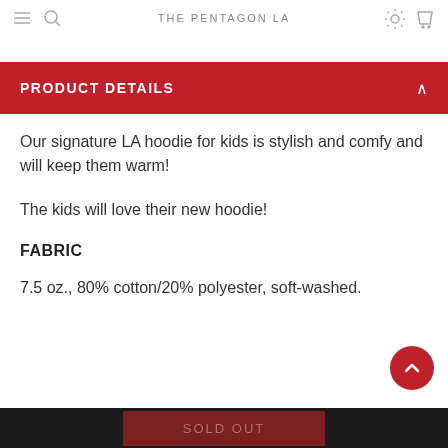THE PENTAGON LA
PRODUCT DETAILS
Our signature LA hoodie for kids is stylish and comfy and will keep them warm!
The kids will love their new hoodie!
FABRIC
7.5 oz., 80% cotton/20% polyester, soft-washed.
SOLD OUT